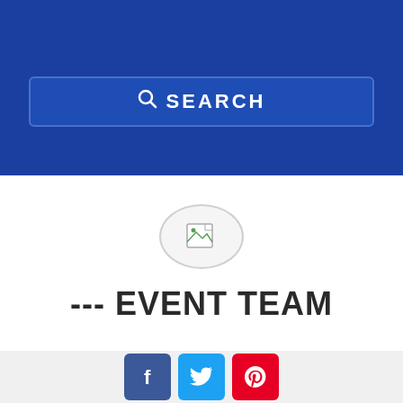[Figure (screenshot): Blue header area with search bar containing a magnifying glass icon and SEARCH text in white on a dark blue background]
[Figure (illustration): Broken image icon inside an oval/ellipse circle outline on white background]
--- EVENT TEAM
[Figure (infographic): Social media icons: Facebook (blue), Twitter (cyan), Pinterest (red) in rounded square buttons]